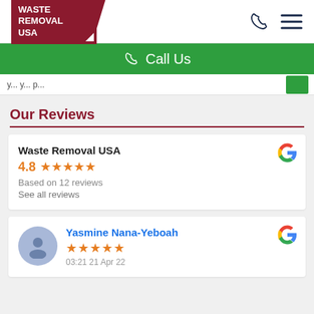[Figure (logo): Waste Removal USA logo — dark red banner with white text and phone/menu icons in header]
[Figure (illustration): Green 'Call Us' banner with phone icon]
Our Reviews
Waste Removal USA
4.8 ★★★★★
Based on 12 reviews
See all reviews
Yasmine Nana-Yeboah
★★★★★
03:21 21 Apr 22